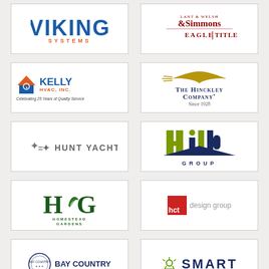[Figure (logo): Viking Systems logo - blue bold text 'VIKING' with 'SYSTEMS' in orange below]
[Figure (logo): Simmons Eagle Title logo - dark red serif text with ampersand]
[Figure (logo): Kelly HVAC Inc logo - blue and orange text with house icon, Celebrating 25 Years of Quality Service]
[Figure (logo): The Hinckley Company logo - navy serif text with winged emblem, Since 1928]
[Figure (logo): Hunt Yachts logo - grey uppercase text with cross anchors]
[Figure (logo): Hild Group logo - olive green and navy stylized letters with GROUP text]
[Figure (logo): Homestead Gardens logo - HG monogram in dark green with leaf, HOMESTEAD GARDENS text]
[Figure (logo): hct design group logo - red square box with hct text, design group in grey]
[Figure (logo): Bay Country logo - circular seal with BAY COUNTRY text]
[Figure (logo): Smart logo - green icon with SMART text in navy]